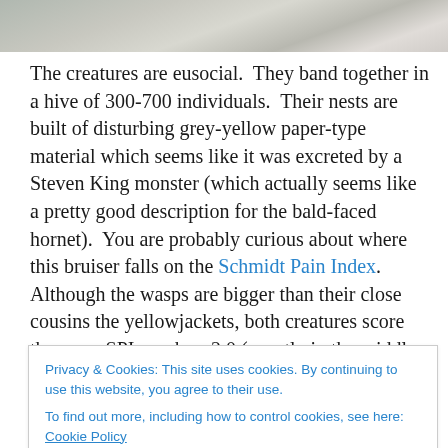[Figure (photo): Partial image of a surface, appears to be a wooden or textured background, cropped at top of page]
The creatures are eusocial.  They band together in a hive of 300-700 individuals.  Their nests are built of disturbing grey-yellow paper-type material which seems like it was excreted by a Steven King monster (which actually seems like a pretty good description for the bald-faced hornet).  You are probably curious about where this bruiser falls on the Schmidt Pain Index.  Although the wasps are bigger than their close cousins the yellowjackets, both creatures score the same SPI number: 2.0 (exactly in the middle of
Privacy & Cookies: This site uses cookies. By continuing to use this website, you agree to their use.
To find out more, including how to control cookies, see here: Cookie Policy
pie of a painful cup of coffee. According to the pain index,